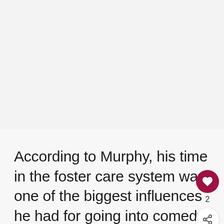[Figure (other): Blank/empty image placeholder area at the top of the page]
According to Murphy, his time in the foster care system was one of the biggest influences he had for going into comedy. They didn't like the woman who was taking care of them,